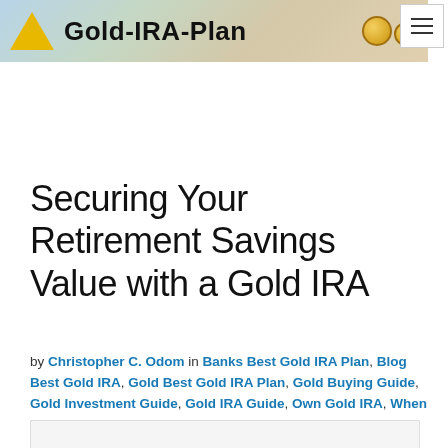[Figure (logo): Gold-IRA-Plan website banner with yellow triangle logo, bold text 'Gold-IRA-Plan', and gold coins on a money background]
Securing Your Retirement Savings Value with a Gold IRA
by Christopher C. Odom in Banks Best Gold IRA Plan, Blog Best Gold IRA, Gold Best Gold IRA Plan, Gold Buying Guide, Gold Investment Guide, Gold IRA Guide, Own Gold IRA, When Buy Gold
[Figure (photo): Image box at bottom of page (partially visible)]